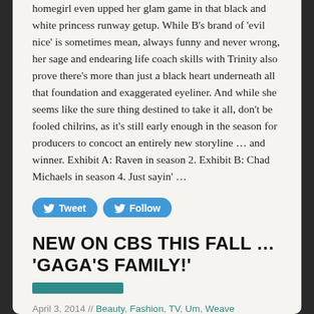homegirl even upped her glam game in that black and white princess runway getup. While B's brand of ‘evil nice’ is sometimes mean, always funny and never wrong, her sage and endearing life coach skills with Trinity also prove there’s more than just a black heart underneath all that foundation and exaggerated eyeliner. And while she seems like the sure thing destined to take it all, don’t be fooled chilrins, as it’s still early enough in the season for producers to concoct an entirely new storyline … and winner. Exhibit A: Raven in season 2. Exhibit B: Chad Michaels in season 4. Just sayin’ …
[Figure (infographic): Social media buttons: Tweet button (blue, Twitter bird icon), Follow button (blue, Twitter bird icon), Like 0 button (Facebook blue, thumbs up icon)]
RuPaul’s Drag Race
NEW ON CBS THIS FALL … ‘GAGA’S FAMILY!’
[Figure (infographic): Teal/dark green rectangle bar (decorative accent)]
April 3, 2014 // Beauty, Fashion, TV, Um, Weave